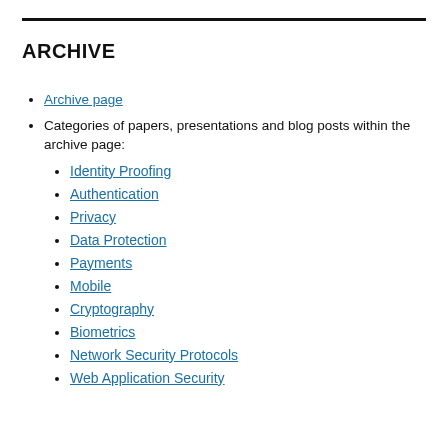ARCHIVE
Archive page
Categories of papers, presentations and blog posts within the archive page:
Identity Proofing
Authentication
Privacy
Data Protection
Payments
Mobile
Cryptography
Biometrics
Network Security Protocols
Web Application Security